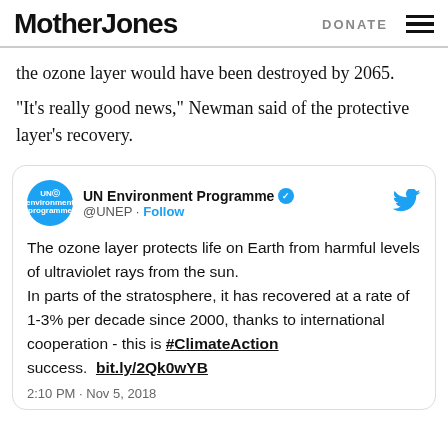Mother Jones | DONATE
the ozone layer would have been destroyed by 2065.
“It’s really good news,” Newman said of the protective layer’s recovery.
[Figure (screenshot): Embedded tweet from @UNEP (UN Environment Programme) with verified badge. Tweet text: 'The ozone layer protects life on Earth from harmful levels of ultraviolet rays from the sun. In parts of the stratosphere, it has recovered at a rate of 1-3% per decade since 2000, thanks to international cooperation - this is #ClimateAction success. bit.ly/2Qk0wYB'. Timestamp: 2:10 PM · Nov 5, 2018.]
2:10 PM · Nov 5, 2018